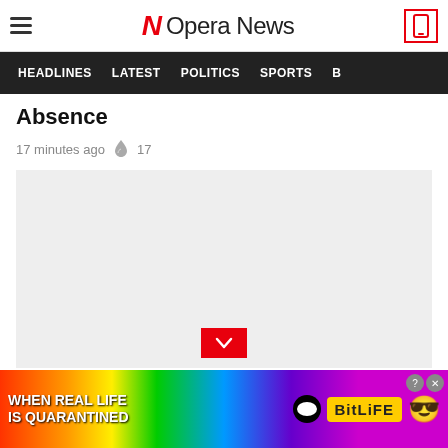Opera News
HEADLINES  LATEST  POLITICS  SPORTS
Absence
17 minutes ago  17
[Figure (photo): Large grey placeholder image area with a red scroll-down button at the bottom center]
[Figure (infographic): BitLife advertisement banner: 'WHEN REAL LIFE IS QUARANTINED' with colorful rainbow background and game mascot emoji characters]